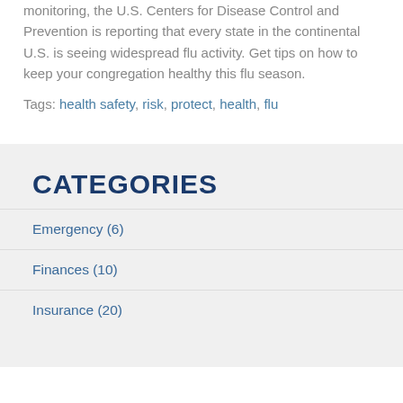monitoring, the U.S. Centers for Disease Control and Prevention is reporting that every state in the continental U.S. is seeing widespread flu activity. Get tips on how to keep your congregation healthy this flu season.
Tags: health safety, risk, protect, health, flu
CATEGORIES
Emergency (6)
Finances (10)
Insurance (20)